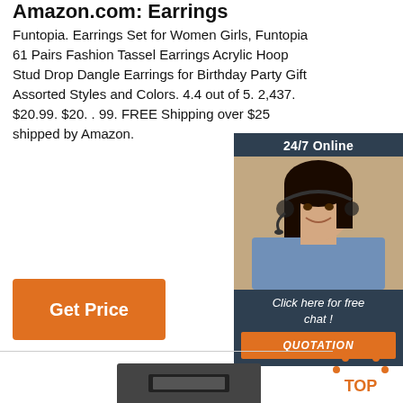Amazon.com: Earrings
Funtopia. Earrings Set for Women Girls, Funtopia 61 Pairs Fashion Tassel Earrings Acrylic Hoop Stud Drop Dangle Earrings for Birthday Party Gift Assorted Styles and Colors. 4.4 out of 5. 2,437. $20.99. $20. . 99. FREE Shipping over $25 shipped by Amazon.
[Figure (other): Orange 'Get Price' button]
[Figure (other): 24/7 Online chat widget with a woman wearing a headset, 'Click here for free chat!' text, and an orange QUOTATION button]
[Figure (other): Orange dotted arc 'TOP' back-to-top button in lower right]
[Figure (other): Partial view of a dark device/product at bottom center]